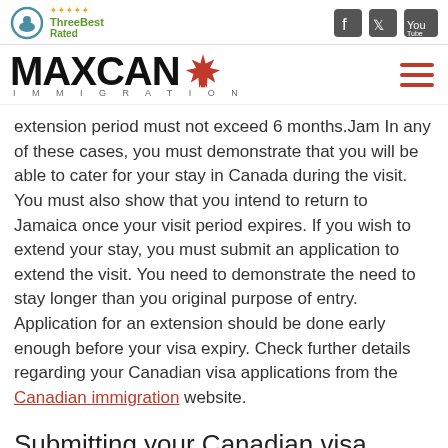ThreeBest Rated — social icons
[Figure (logo): Maxcan Immigration logo with red maple leaf and hamburger menu icon]
extension period must not exceed 6 months.Jam In any of these cases, you must demonstrate that you will be able to cater for your stay in Canada during the visit. You must also show that you intend to return to Jamaica once your visit period expires. If you wish to extend your stay, you must submit an application to extend the visit. You need to demonstrate the need to stay longer than you original purpose of entry. Application for an extension should be done early enough before your visa expiry. Check further details regarding your Canadian visa applications from the Canadian immigration website.
Submitting your Canadian visa